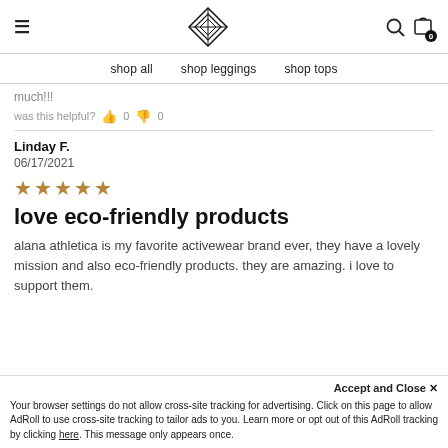Navigation header with hamburger menu, diamond logo, search icon, and cart (0)
shop all   shop leggings   shop tops
much!!!
was this helpful? 👍 0 👎 0
Linday F.
06/17/2021
[Figure (other): 5 gold/bronze stars rating]
love eco-friendly products
alana athletica is my favorite activewear brand ever, they have a lovely mission and also eco-friendly products. they are amazing. i love to support them.
Accept and Close ✕
Your browser settings do not allow cross-site tracking for advertising. Click on this page to allow AdRoll to use cross-site tracking to tailor ads to you. Learn more or opt out of this AdRoll tracking by clicking here. This message only appears once.